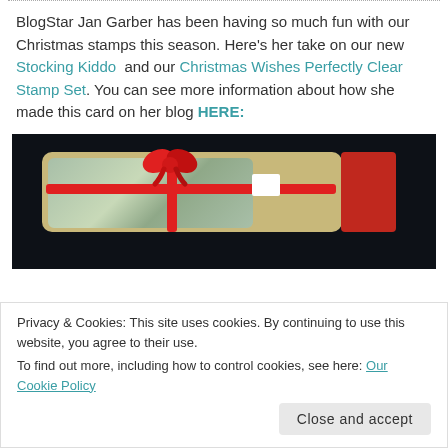BlogStar Jan Garber has been having so much fun with our Christmas stamps this season. Here's her take on our new Stocking Kiddo and our Christmas Wishes Perfectly Clear Stamp Set. You can see more information about how she made this card on her blog HERE:
[Figure (photo): Photo of a Christmas card/gift with plaid pattern, red ribbon bow, and red accent on dark background]
Privacy & Cookies: This site uses cookies. By continuing to use this website, you agree to their use.
To find out more, including how to control cookies, see here: Our Cookie Policy